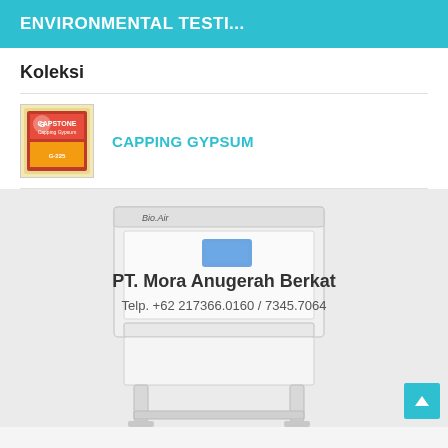ENVIRONMENTAL TESTI...
Koleksi
CAPPING GYPSUM
[Figure (photo): Laboratory biosafety cabinet / laminar flow cabinet on a metal stand, white, with blue control panel, branded with Bio.Air logo. Overlaid with watermark text: PT. Mora Anugerah Berkat, Telp. +62 217366.0160 / 7345.7064]
[Figure (other): Scroll-to-top button (cyan/teal arrow up icon) at bottom right corner]